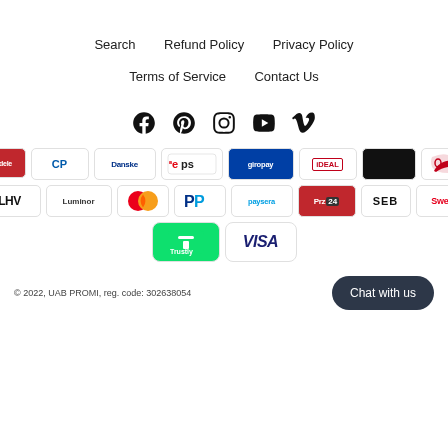Search     Refund Policy     Privacy Policy     Terms of Service     Contact Us
[Figure (illustration): Social media icons: Facebook, Pinterest, Instagram, YouTube, Vimeo]
[Figure (illustration): Payment method logos: Citadele, CP, Danske, eps, giropay, iDEAL, (black box), Viking/Dankort, LHV, Luminor, Mastercard, PayPal, PaySera, Prz24, SEB, Swed, Trustly, VISA]
© 2022, UAB PROMI, reg. code: 302638054
Chat with us